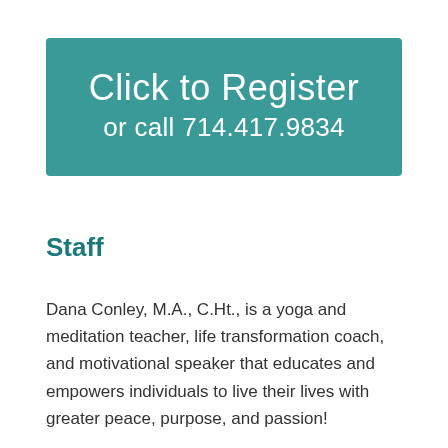[Figure (infographic): Teal/green rounded rectangle button with text 'Click to Register' on first line and 'or call 714.417.9834' on second line, white text on teal background.]
Staff
Dana Conley, M.A., C.Ht., is a yoga and meditation teacher, life transformation coach, and motivational speaker that educates and empowers individuals to live their lives with greater peace, purpose, and passion!